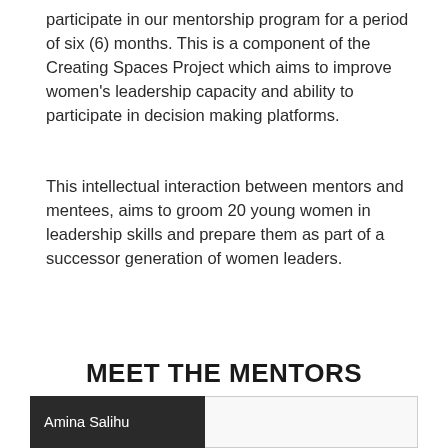participate in our mentorship program for a period of six (6) months. This is a component of the Creating Spaces Project which aims to improve women's leadership capacity and ability to participate in decision making platforms.
This intellectual interaction between mentors and mentees, aims to groom 20 young women in leadership skills and prepare them as part of a successor generation of women leaders.
MEET THE MENTORS
Amina Salihu